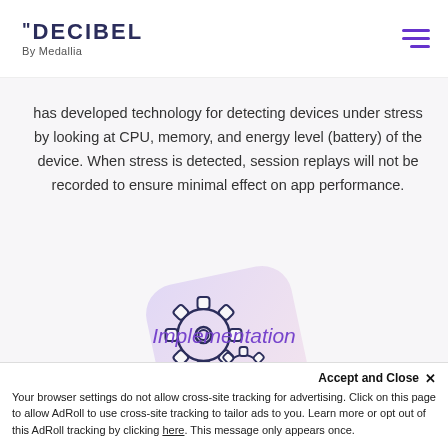DECIBEL By Medallia
has developed technology for detecting devices under stress by looking at CPU, memory, and energy level (battery) of the device. When stress is detected, session replays will not be recorded to ensure minimal effect on app performance.
[Figure (illustration): Two gear icons (settings/cog wheels) on a rounded square with soft purple-to-pink gradient background, tilted slightly]
Implementation
Accept and Close ×
Your browser settings do not allow cross-site tracking for advertising. Click on this page to allow AdRoll to use cross-site tracking to tailor ads to you. Learn more or opt out of this AdRoll tracking by clicking here. This message only appears once.